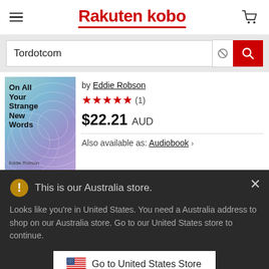Rakuten kobo
Tordotcom
[Figure (illustration): Book cover showing 'On All Your Strange New Words' by Eddie Robson with abstract circular pattern in blue/purple tones]
by Eddie Robson
★★★★★ (1)
$22.21 AUD
Also available as: Audiobook ›
This is our Australia store.
Looks like you're in United States. You need a Australia address to shop on our Australia store. Go to our United States store to continue.
Go to United States Store
Choose another store